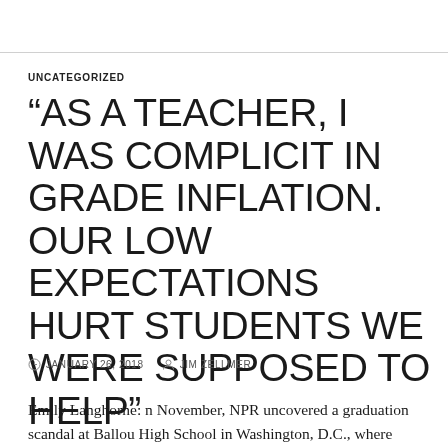UNCATEGORIZED
“AS A TEACHER, I WAS COMPLICIT IN GRADE INFLATION. OUR LOW EXPECTATIONS HURT STUDENTS WE WERE SUPPOSED TO HELP”
JANUARY 26, 2018   JIM ZELLMER
Emily Langhorne: n November, NPR uncovered a graduation scandal at Ballou High School in Washington, D.C., where half the graduates missed more than 90 days of school.